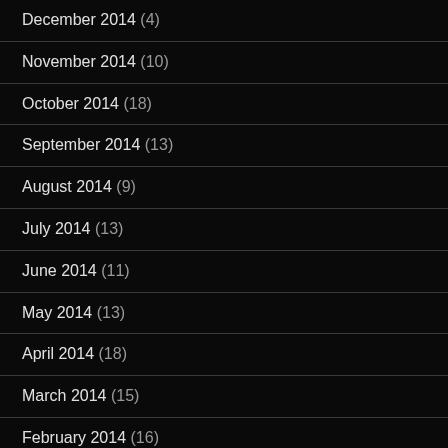December 2014 (4)
November 2014 (10)
October 2014 (18)
September 2014 (13)
August 2014 (9)
July 2014 (13)
June 2014 (11)
May 2014 (13)
April 2014 (18)
March 2014 (15)
February 2014 (16)
January 2014 (26)
December 2013 (17)